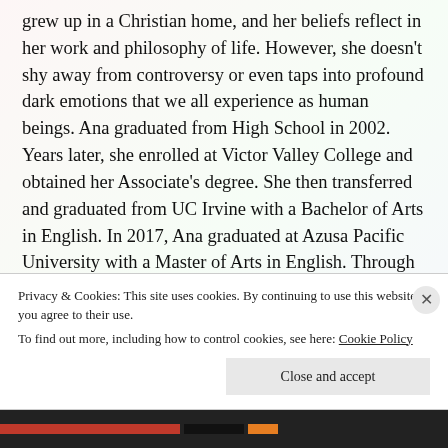grew up in a Christian home, and her beliefs reflect in her work and philosophy of life. However, she doesn't shy away from controversy or even taps into profound dark emotions that we all experience as human beings. Ana graduated from High School in 2002. Years later, she enrolled at Victor Valley College and obtained her Associate's degree. She then transferred and graduated from UC Irvine with a Bachelor of Arts in English. In 2017, Ana graduated at Azusa Pacific University with a Master of Arts in English. Through her Master's dissertation, she published on Proquest three short
Privacy & Cookies: This site uses cookies. By continuing to use this website, you agree to their use.
To find out more, including how to control cookies, see here: Cookie Policy